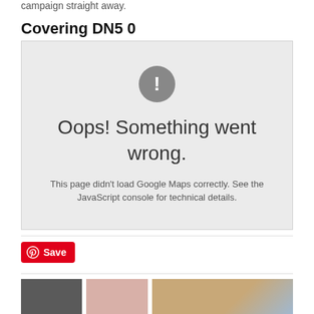campaign straight away.
Covering DN5 0
[Figure (screenshot): Google Maps error box with grey background showing exclamation mark icon, 'Oops! Something went wrong.' message, and 'This page didn't load Google Maps correctly. See the JavaScript console for technical details.' text.]
[Figure (other): Pinterest Save button in red with Pinterest logo]
[Figure (photo): Three thumbnail images at the bottom of the page]